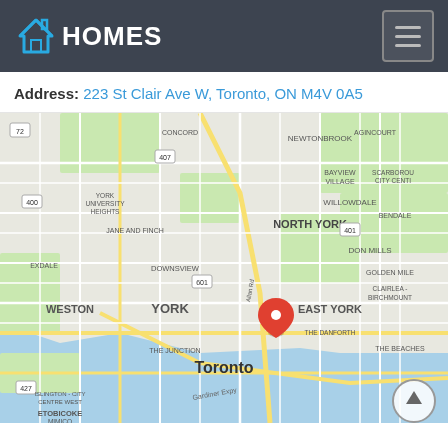[Figure (logo): iHomes logo with house icon in blue and white text on dark gray header background]
Address: 223 St Clair Ave W, Toronto, ON M4V 0A5
[Figure (map): Google Maps screenshot showing Toronto, ON with a red pin marker at 223 St Clair Ave W. Map shows neighborhoods including North York, York, East York, Etobicoke, The Junction, The Beaches, Don Mills, and the waterfront.]